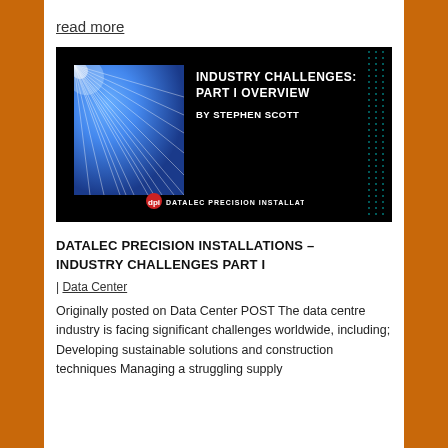read more
[Figure (illustration): Presentation slide thumbnail showing 'INDUSTRY CHALLENGES: PART I OVERVIEW BY STEPHEN SCOTT' with a blue light-ray graphic on black background, Datalec Precision Installations logo at bottom.]
DATALEC PRECISION INSTALLATIONS – INDUSTRY CHALLENGES PART I
| Data Center
Originally posted on Data Center POST The data centre industry is facing significant challenges worldwide, including;  Developing sustainable solutions and construction techniques Managing a struggling supply